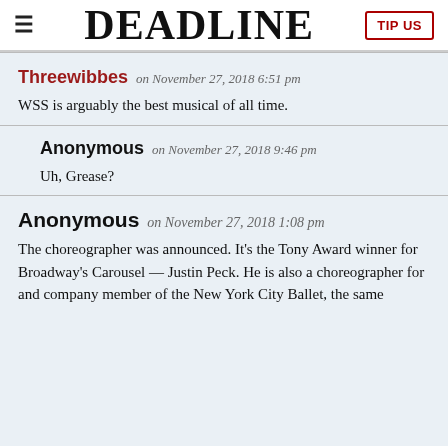DEADLINE | TIP US
Threewibbes on November 27, 2018 6:51 pm
WSS is arguably the best musical of all time.
Anonymous on November 27, 2018 9:46 pm
Uh, Grease?
Anonymous on November 27, 2018 1:08 pm
The choreographer was announced. It's the Tony Award winner for Broadway's Carousel — Justin Peck. He is also a choreographer for and company member of the New York City Ballet, the same